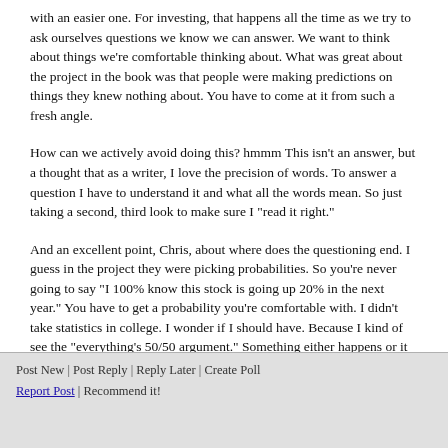with an easier one. For investing, that happens all the time as we try to ask ourselves questions we know we can answer. We want to think about things we're comfortable thinking about. What was great about the project in the book was that people were making predictions on things they knew nothing about. You have to come at it from such a fresh angle.
How can we actively avoid doing this? hmmm This isn't an answer, but a thought that as a writer, I love the precision of words. To answer a question I have to understand it and what all the words mean. So just taking a second, third look to make sure I "read it right."
And an excellent point, Chris, about where does the questioning end. I guess in the project they were picking probabilities. So you're never going to say "I 100% know this stock is going up 20% in the next year." You have to get a probability you're comfortable with. I didn't take statistics in college. I wonder if I should have. Because I kind of see the "everything's 50/50 argument." Something either happens or it doesn't.
Post New | Post Reply | Reply Later | Create Poll
Report Post | Recommend it!